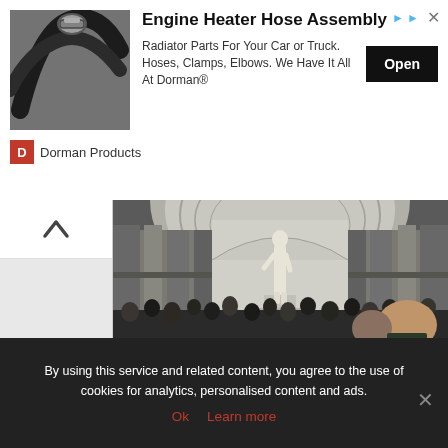[Figure (screenshot): Advertisement banner for Dorman Products Engine Heater Hose Assembly. Shows a photo of black hoses/clamps on the left, title 'Engine Heater Hose Assembly', description text, Open button, and Dorman branding at bottom.]
[Figure (photo): Museum interior photo showing Michelangelo's David statue on a pedestal under a large dome alcove, surrounded by many tourists viewing the sculpture. Grand architectural columns and arches visible.]
By using this service and related content, you agree to the use of cookies for analytics, personalised content and ads.
Ok   Learn more